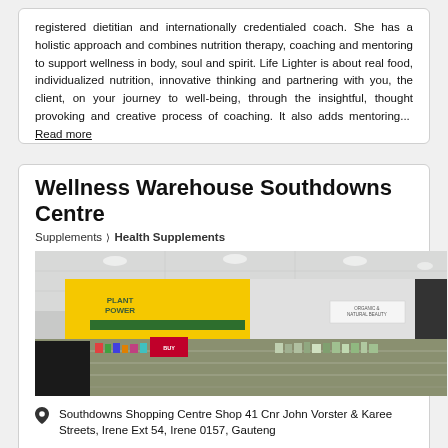registered dietitian and internationally credentialed coach. She has a holistic approach and combines nutrition therapy, coaching and mentoring to support wellness in body, soul and spirit. Life Lighter is about real food, individualized nutrition, innovative thinking and partnering with you, the client, on your journey to well-being, through the insightful, thought provoking and creative process of coaching. It also adds mentoring... Read more
Wellness Warehouse Southdowns Centre
Supplements > Health Supplements
[Figure (photo): Interior photograph of Wellness Warehouse Southdowns Centre store showing yellow wall with PLANT POWER signage, green banner, shelves with products, and retail counter area.]
Southdowns Shopping Centre Shop 41 Cnr John Vorster & Karee Streets, Irene Ext 54, Irene 0157, Gauteng
5-10 km from Waterkloof Park